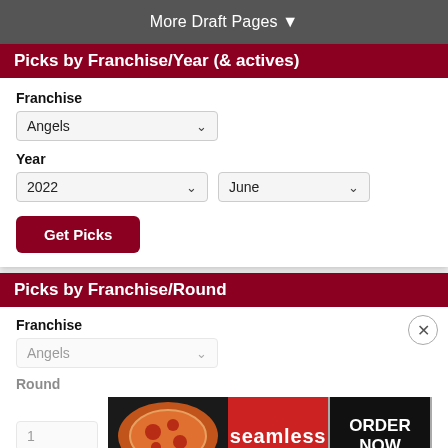More Draft Pages ▼
Picks by Franchise/Year (& actives)
Franchise
Angels
Year
2022
June
Get Picks
Picks by Franchise/Round
Franchise
Angels
Round
1
[Figure (screenshot): Seamless food delivery advertisement banner with pizza image, seamless logo and ORDER NOW call-to-action]